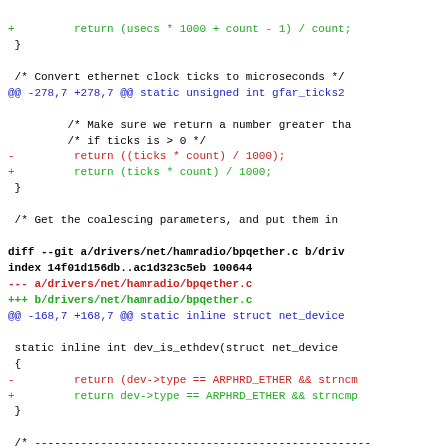+         return (usecs * 1000 + count - 1) / count;
 }
/* Convert ethernet clock ticks to microseconds */
@@ -278,7 +278,7 @@ static unsigned int gfar_ticks2
/* Make sure we return a number greater tha
/* if ticks is > 0 */
-         return ((ticks * count) / 1000);
+         return (ticks * count) / 1000;
}
/* Get the coalescing parameters, and put them in
diff --git a/drivers/net/hamradio/bpqether.c b/driv
index 14f01d156db..ac1d323c5eb 100644
--- a/drivers/net/hamradio/bpqether.c
+++ b/drivers/net/hamradio/bpqether.c
@@ -168,7 +168,7 @@ static inline struct net_device
static inline int dev_is_ethdev(struct net_device
 {
-         return (dev->type == ARPHRD_ETHER && strncm
+         return dev->type == ARPHRD_ETHER && strncmp
}
/* ---------------------------------------------------
diff --git a/drivers/net/hamradio/hdlcdrv.c b/drive
index b8bdf9d51cd..5b37579e84b 100644